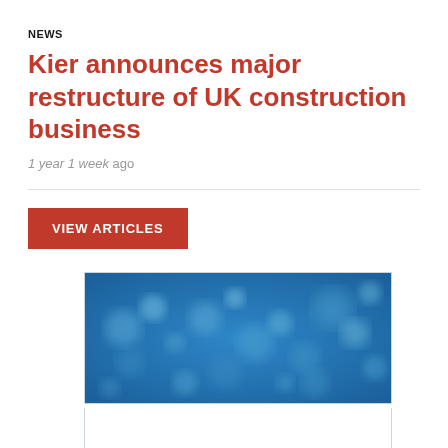NEWS
Kier announces major restructure of UK construction business
1 year 1 week ago
VIEW ARTICLES
[Figure (photo): Blue bokeh background image with blurred circular light spots on a blue gradient background, partially cropped with a white card section below]